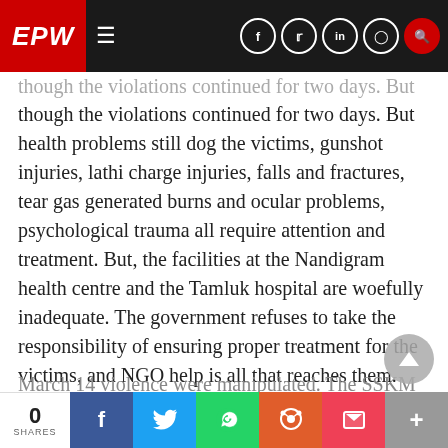EPW
though the violations continued for two days. But health problems still dog the victims, gunshot injuries, lathi charge injuries, falls and fractures, tear gas generated burns and ocular problems, psychological trauma all require attention and treatment. But, the facilities at the Nandigram health centre and the Tamluk hospital are woefully inadequate. The government refuses to take the responsibility of ensuring proper treatment for the victims, and NGO help is all that reaches them. Also, there is evidence now that many of the medical discharge certificates of victims of the March 14 violence were manipulated. The SSKM
0 SHARES